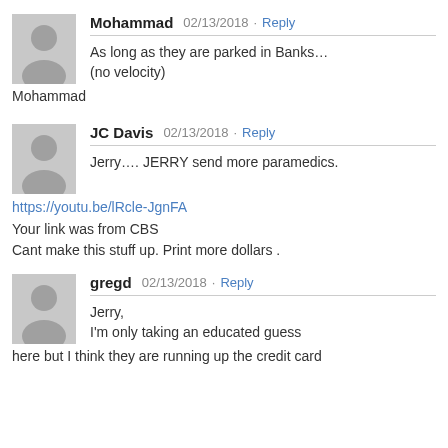[Figure (illustration): Gray avatar placeholder icon for Mohammad]
Mohammad  02/13/2018 · Reply
As long as they are parked in Banks… (no velocity)
Mohammad
[Figure (illustration): Gray avatar placeholder icon for JC Davis]
JC Davis  02/13/2018 · Reply
Jerry…. JERRY send more paramedics.
https://youtu.be/lRcle-JgnFA
Your link was from CBS
Cant make this stuff up. Print more dollars .
[Figure (illustration): Gray avatar placeholder icon for gregd]
gregd  02/13/2018 · Reply
Jerry,
I'm only taking an educated guess here but I think they are running up the credit card